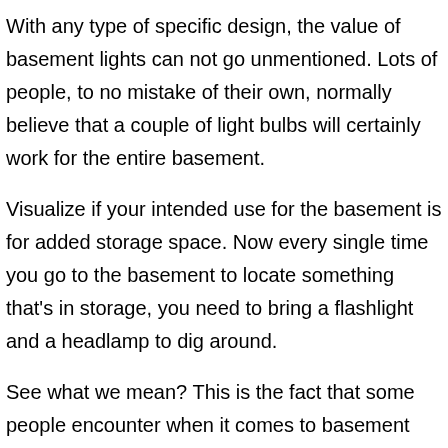With any type of specific design, the value of basement lights can not go unmentioned. Lots of people, to no mistake of their own, normally believe that a couple of light bulbs will certainly work for the entire basement.
Visualize if your intended use for the basement is for added storage space. Now every single time you go to the basement to locate something that's in storage, you need to bring a flashlight and a headlamp to dig around.
See what we mean? This is the fact that some people encounter when it comes to basement storage space.